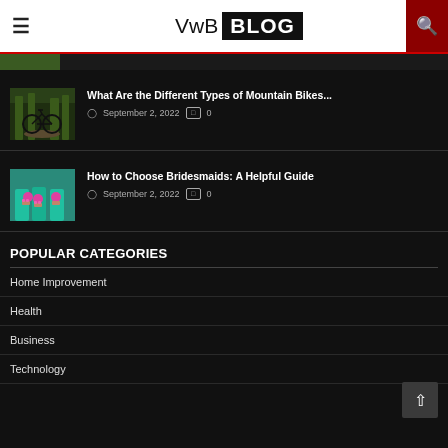VwB BLOG
[Figure (screenshot): Partial top image strip showing green outdoor scene]
[Figure (photo): Bicycle parked in a forest path]
What Are the Different Types of Mountain Bikes...
September 2, 2022  0
[Figure (photo): Bridesmaids in teal dresses holding pink flowers]
How to Choose Bridesmaids: A Helpful Guide
September 2, 2022  0
POPULAR CATEGORIES
Home Improvement
Health
Business
Technology